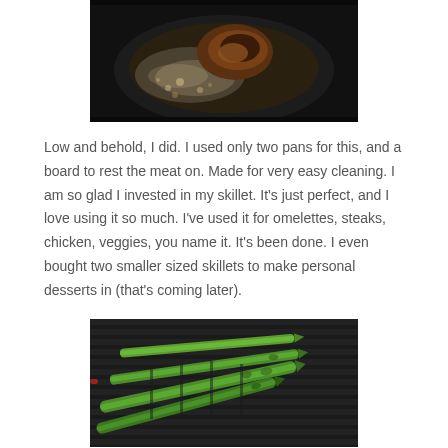[Figure (photo): Close-up of meat sizzling and frying in a dark pan with bubbling oil and juices]
Low and behold, I did. I used only two pans for this, and a board to rest the meat on. Made for very easy cleaning. I am so glad I invested in my skillet. It’s just perfect, and I love using it so much. I’ve used it for omelettes, steaks, chicken, veggies, you name it. It’s been done. I even bought two smaller sized skillets to make personal desserts in (that’s coming later).
[Figure (photo): Asparagus spears being grilled on a dark ridged grill pan]